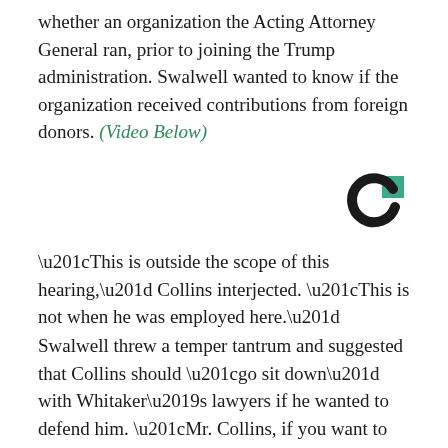whether an organization the Acting Attorney General ran, prior to joining the Trump administration. Swalwell wanted to know if the organization received contributions from foreign donors. (Video Below)
[Figure (logo): Circular logo with a teal/green square accent in the upper right of the letter C shape, black C shape forming a circular arc, on white background.]
“This is outside the scope of this hearing,” Collins interjected. “This is not when he was employed here.”
Swalwell threw a temper tantrum and suggested that Collins should “go sit down” with Whitaker’s lawyers if he wanted to defend him. “Mr. Collins, if you want to sit down there with his lawyers, you can go sit down there. But you’re not his lawyer.”
“Neither are you, Mr. Swalwell, and if you asked questions that were actually out of this int and f